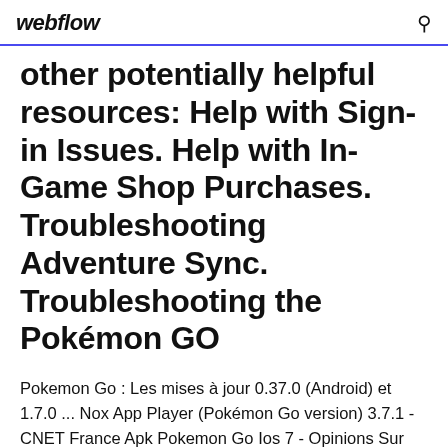webflow
other potentially helpful resources: Help with Sign-in Issues. Help with In-Game Shop Purchases. Troubleshooting Adventure Sync. Troubleshooting the Pokémon GO
Pokemon Go : Les mises à jour 0.37.0 (Android) et 1.7.0 ... Nox App Player (Pokémon Go version) 3.7.1 - CNET France Apk Pokemon Go Ios 7 - Opinions Sur Apk Pokemon Go Ios 7 Te voilà une liste d'opinions sur apk pokemon go ios 7. Toi aussi, tu as la possibilité d'exprimer ton